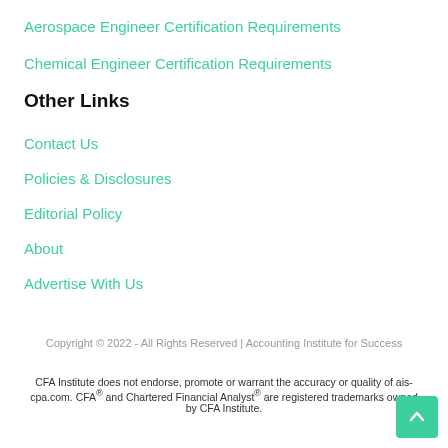Aerospace Engineer Certification Requirements
Chemical Engineer Certification Requirements
Other Links
Contact Us
Policies & Disclosures
Editorial Policy
About
Advertise With Us
Copyright © 2022 - All Rights Reserved | Accounting Institute for Success
CFA Institute does not endorse, promote or warrant the accuracy or quality of ais-cpa.com. CFA® and Chartered Financial Analyst® are registered trademarks owned by CFA Institute.